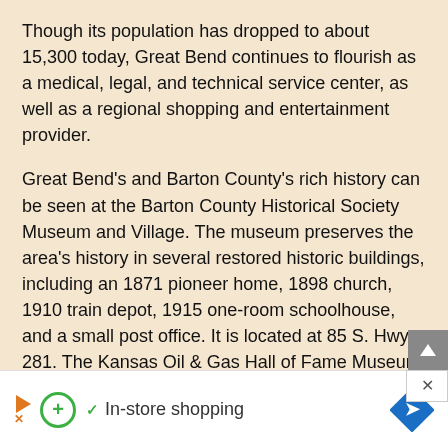Though its population has dropped to about 15,300 today, Great Bend continues to flourish as a medical, legal, and technical service center, as well as a regional shopping and entertainment provider.
Great Bend's and Barton County's rich history can be seen at the Barton County Historical Society Museum and Village. The museum preserves the area's history in several restored historic buildings, including an 1871 pioneer home, 1898 church, 1910 train depot, 1915 one-room schoolhouse, and a small post office. It is located at 85 S. Hwy 281. The Kansas Oil & Gas Hall of Fame Museum, located at 5944 W. 10th Street, features local oil and gas production history in the area.
[Figure (other): Advertisement banner at the bottom of the page showing orange play button icon, green plus circle icon, green checkmark, text 'In-store shopping', and a blue diamond navigation icon.]